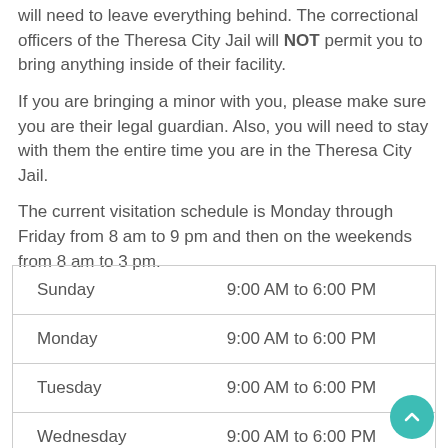will need to leave everything behind. The correctional officers of the Theresa City Jail will NOT permit you to bring anything inside of their facility.
If you are bringing a minor with you, please make sure you are their legal guardian. Also, you will need to stay with them the entire time you are in the Theresa City Jail.
The current visitation schedule is Monday through Friday from 8 am to 9 pm and then on the weekends from 8 am to 3 pm.
| Day | Hours |
| --- | --- |
| Sunday | 9:00 AM to 6:00 PM |
| Monday | 9:00 AM to 6:00 PM |
| Tuesday | 9:00 AM to 6:00 PM |
| Wednesday | 9:00 AM to 6:00 PM |